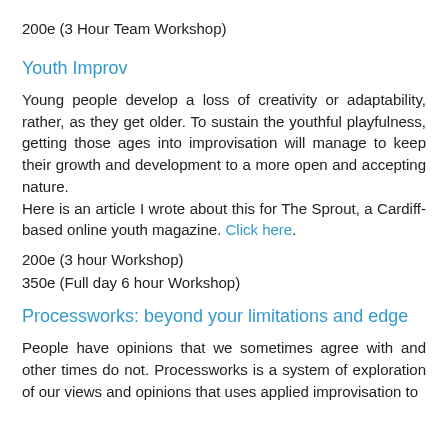200e (3 Hour Team Workshop)
Youth Improv
Young people develop a loss of creativity or adaptability, rather, as they get older. To sustain the youthful playfulness, getting those ages into improvisation will manage to keep their growth and development to a more open and accepting nature.
Here is an article I wrote about this for The Sprout, a Cardiff-based online youth magazine. Click here.
200e (3 hour Workshop)
350e (Full day 6 hour Workshop)
Processworks: beyond your limitations and edge
People have opinions that we sometimes agree with and other times do not. Processworks is a system of exploration of our views and opinions that uses applied improvisation to